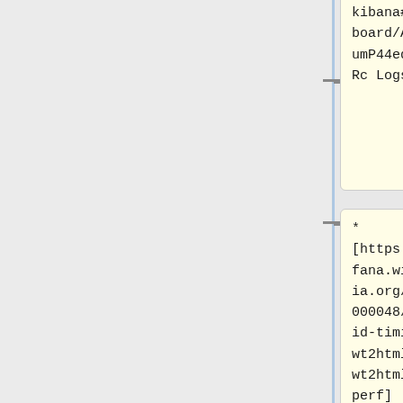kibana#/dashboard/AW4Y6bumP44edBvO7lRc Logstash]
* [https://grafana.wikimedia.org/d/000000048/parsoid-timing-wt2html wt2html perf]
* [https://grafana.wikimedia.org/dashboard/db/parsoid-timing-html2wt